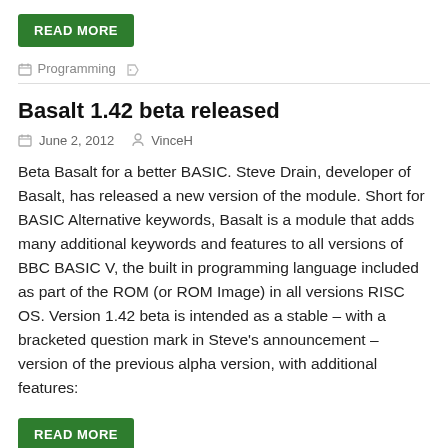READ MORE
Programming
Basalt 1.42 beta released
June 2, 2012   VinceH
Beta Basalt for a better BASIC. Steve Drain, developer of Basalt, has released a new version of the module. Short for BASIC Alternative keywords, Basalt is a module that adds many additional keywords and features to all versions of BBC BASIC V, the built in programming language included as part of the ROM (or ROM Image) in all versions RISC OS. Version 1.42 beta is intended as a stable – with a bracketed question mark in Steve's announcement – version of the previous alpha version, with additional features:
READ MORE